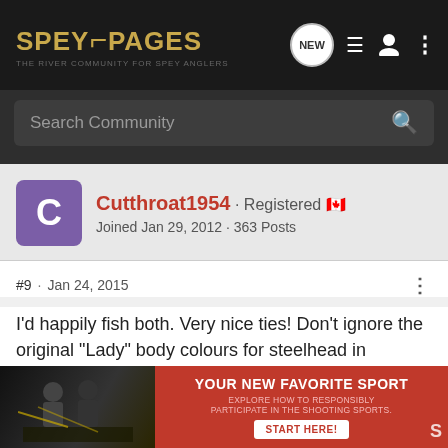SPEYPAGES
Search Community
Cutthroat1954 · Registered
Joined Jan 29, 2012 · 363 Posts
#9 · Jan 24, 2015
I'd happily fish both. Very nice ties! Don't ignore the original "Lady" body colours for steelhead in general, and spring-fall fish in particular. Something about the Lady Caroline that I always loved.
"There will always be days when the fishing is better than ones most optimistic...ever
[Figure (screenshot): Advertisement overlay: YOUR NEW FAVORITE SPORT - EXPLORE HOW TO RESPONSIBLY PARTICIPATE IN THE SHOOTING SPORTS. START HERE!]